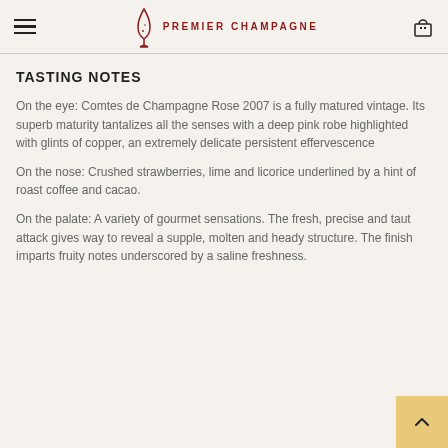Premier Champagne
TASTING NOTES
On the eye: Comtes de Champagne Rose 2007 is a fully matured vintage. Its superb maturity tantalizes all the senses with a deep pink robe highlighted with glints of copper, an extremely delicate persistent effervescence
On the nose: Crushed strawberries, lime and licorice underlined by a hint of roast coffee and cacao.
On the palate: A variety of gourmet sensations. The fresh, precise and taut attack gives way to reveal a supple, molten and heady structure. The finish imparts fruity notes underscored by a saline freshness.